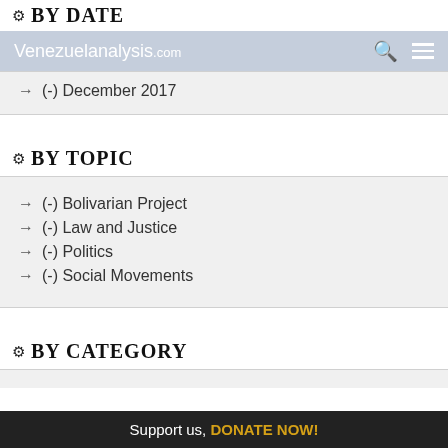BY DATE
Venezuelanalysis.com
→ (-) December 2017
BY TOPIC
→ (-) Bolivarian Project
→ (-) Law and Justice
→ (-) Politics
→ (-) Social Movements
BY CATEGORY
Support us, DONATE NOW!